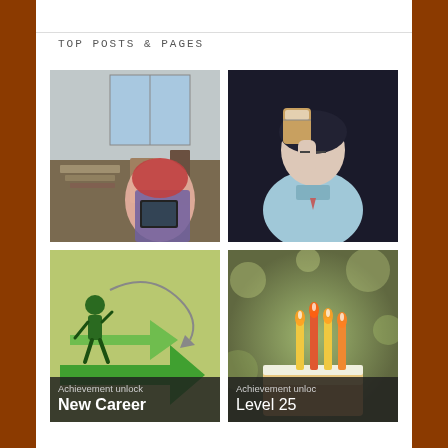TOP POSTS & PAGES
[Figure (photo): Blurred photo of a messy desk with books and papers, with an anime-style character holding a tablet in the foreground]
[Figure (illustration): Anime-style illustration of a character drinking from a can, wearing light blue clothing, dark background]
[Figure (illustration): Cartoon illustration of a person running with large green arrows, caption overlay reading 'Achievement unlocked' and 'New Career']
[Figure (photo): Photo of a birthday cake with lit candles, with caption overlay reading 'Achievement unlocked' and 'Level 25']